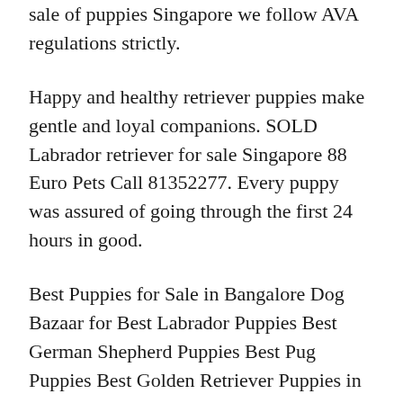sale of puppies Singapore we follow AVA regulations strictly.
Happy and healthy retriever puppies make gentle and loyal companions. SOLD Labrador retriever for sale Singapore 88 Euro Pets Call 81352277. Every puppy was assured of going through the first 24 hours in good.
Best Puppies for Sale in Bangalore Dog Bazaar for Best Labrador Puppies Best German Shepherd Puppies Best Pug Puppies Best Golden Retriever Puppies in Bangalore. Labrador Retrievers are not the number one pet in the world for no. All Labs traced to Lord